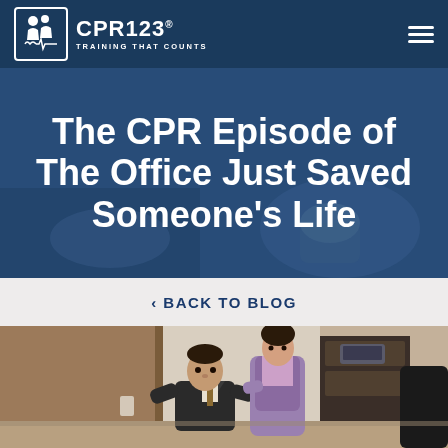CPR123 — TRAINING THAT COUNTS
The CPR Episode of The Office Just Saved Someone's Life
‹ BACK TO BLOG
[Figure (photo): Scene from The Office TV show: a man in a suit crouching down, with a woman in a purple vest standing behind him, in an office setting]